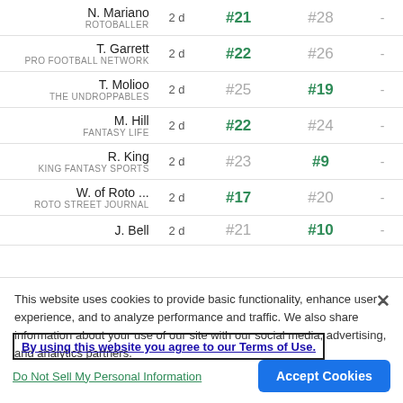| Expert | Age | Rank 1 | Rank 2 |  |
| --- | --- | --- | --- | --- |
| N. Mariano ROTOBALLER | 2 d | #21 | #28 | - |
| T. Garrett PRO FOOTBALL NETWORK | 2 d | #22 | #26 | - |
| T. Molioo THE UNDROPPABLES | 2 d | #25 | #19 | - |
| M. Hill FANTASY LIFE | 2 d | #22 | #24 | - |
| R. King KING FANTASY SPORTS | 2 d | #23 | #9 | - |
| W. of Roto ... ROTO STREET JOURNAL | 2 d | #17 | #20 | - |
| J. Bell | 2 d | #21 | #10 | - |
This website uses cookies to provide basic functionality, enhance user experience, and to analyze performance and traffic. We also share information about your use of our site with our social media, advertising, and analytics partners.
By using this website you agree to our Terms of Use.
Do Not Sell My Personal Information
Accept Cookies